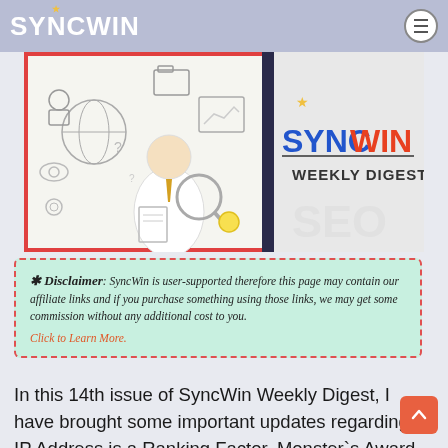SYNCWIN
[Figure (illustration): SyncWin Weekly Digest banner image showing a cartoon man with magnifying glass surrounded by SEO and analytics icons, with 'SYNCWIN WEEKLY DIGEST' text on the right half]
* Disclaimer: SyncWin is user-supported therefore this page may contain our affiliate links and if you purchase something using those links, we may get some commission without any additional cost to you. Click to Learn More.
In this 14th issue of SyncWin Weekly Digest, I have brought some important updates regarding IP Address is a Ranking Factor, Monster`s Award Winners, Alexa.com is Shutting Down, Microsoft Edge vs Google Chrome, and some crucial WordPress security